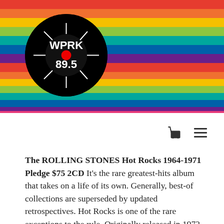[Figure (logo): WPRK 89.5 radio station logo — black circle with white stylized text/record graphic]
[Figure (illustration): Rainbow horizontal stripes banner header]
[Figure (other): Shopping cart icon and hamburger menu icon in top right navigation]
The ROLLING STONES Hot Rocks 1964-1971 Pledge $75 2CD It's the rare greatest-hits album that takes on a life of its own. Generally, best-of collections are superseded by updated retrospectives. Hot Rocks is one of the rare exceptions to the rule. Originally released in 1972, it instantly became the Stones intro of choice, elbowing aside Big Hits, High Tide and Green Grass and Through the Past Darkly. Why? It happened to hit the racks when Mi[ck and] company were at their creative pe[ak.] The 21 tracks found here represent